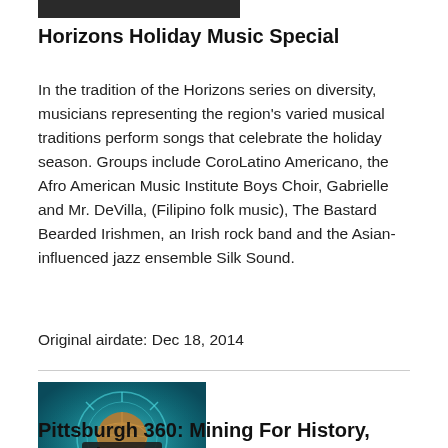[Figure (photo): Partial top image bar, dark background thumbnail strip]
Horizons Holiday Music Special
In the tradition of the Horizons series on diversity, musicians representing the region's varied musical traditions perform songs that celebrate the holiday season. Groups include CoroLatino Americano, the Afro American Music Institute Boys Choir, Gabrielle and Mr. DeVilla, (Filipino folk music), The Bastard Bearded Irishmen, an Irish rock band and the Asian-influenced jazz ensemble Silk Sound.
Original airdate: Dec 18, 2014
[Figure (photo): Pittsburgh 360 logo — teal/blue globe graphic with text 'PITTSBURGH 360']
Pittsburgh 360: Mining For History, Saturday